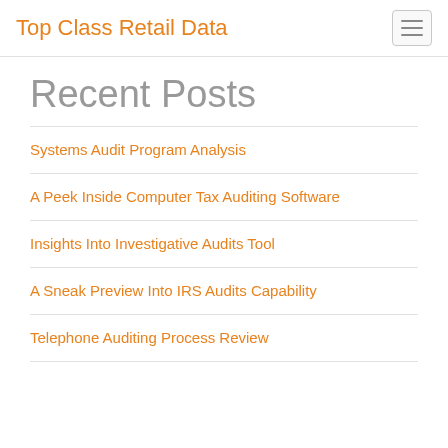Top Class Retail Data
Recent Posts
Systems Audit Program Analysis
A Peek Inside Computer Tax Auditing Software
Insights Into Investigative Audits Tool
A Sneak Preview Into IRS Audits Capability
Telephone Auditing Process Review